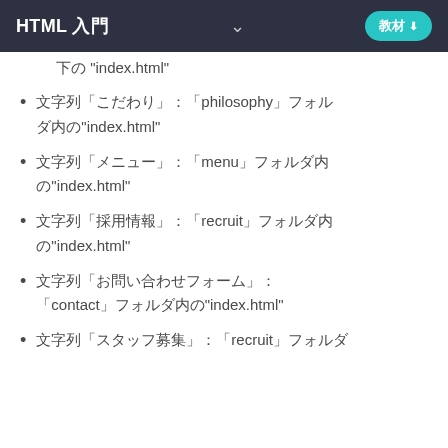HTML 入門
下の "index.html"
文字列「こだわり」：「philosophy」フォルダ内の"index.html"
文字列「メニュー」：「menu」フォルダ内の"index.html"
文字列「採用情報」：「recruit」フォルダ内の"index.html"
文字列「お問い合わせフォーム」：「contact」フォルダ内の"index.html"
文字列「スタッフ募集」：「recruit」フォルダ